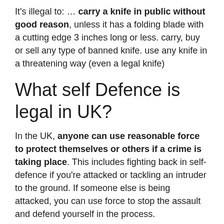It's illegal to: … carry a knife in public without good reason, unless it has a folding blade with a cutting edge 3 inches long or less. carry, buy or sell any type of banned knife. use any knife in a threatening way (even a legal knife)
What self Defence is legal in UK?
In the UK, anyone can use reasonable force to protect themselves or others if a crime is taking place. This includes fighting back in self-defence if you're attacked or tackling an intruder to the ground. If someone else is being attacked, you can use force to stop the assault and defend yourself in the process.